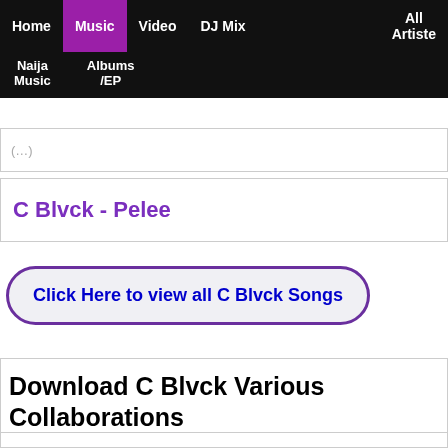Home | Music | Video | DJ Mix | All Artiste | Naija Music | Albums /EP
(truncated)
C Blvck - Pelee
Click Here to view all C Blvck Songs
Download C Blvck Various Collaborations